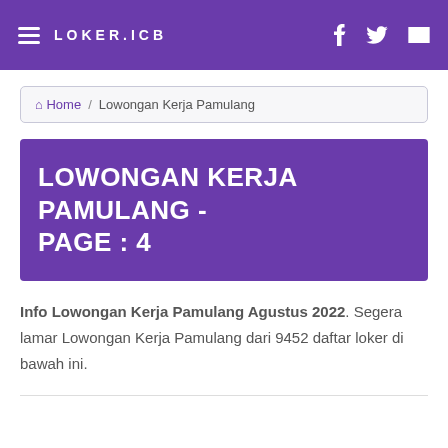LOKER.ICB
Home / Lowongan Kerja Pamulang
LOWONGAN KERJA PAMULANG - PAGE : 4
Info Lowongan Kerja Pamulang Agustus 2022. Segera lamar Lowongan Kerja Pamulang dari 9452 daftar loker di bawah ini.